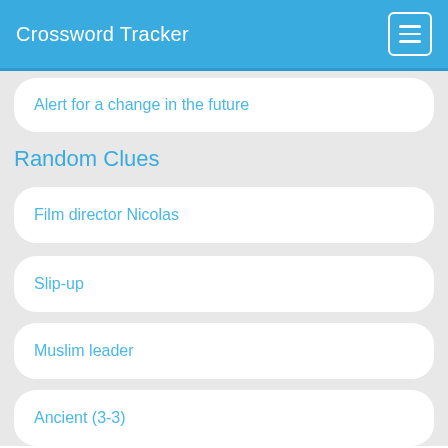Crossword Tracker
Alert for a change in the future
Random Clues
Film director Nicolas
Slip-up
Muslim leader
Ancient (3-3)
Firemen's training structures
[Figure (screenshot): Advertisement for sweetFrog: 'You deserve a sweet Treat' with sweetFrog logo and navigation icon]